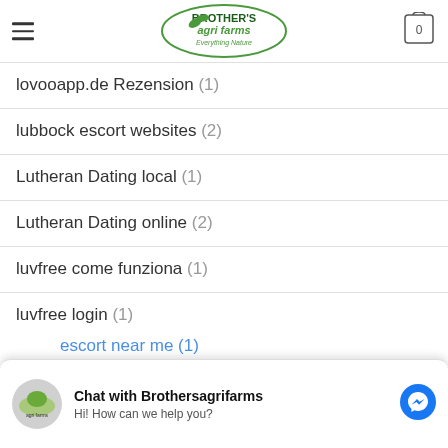Brother's Agri Farms — Everything Nature
lovooapp.de Rezension (1)
lubbock escort websites (2)
Lutheran Dating local (1)
Lutheran Dating online (2)
luvfree come funziona (1)
luvfree login (1)
luxy bewertung (1)
luxy kosten (1)
Chat with Brothersagrifarms — Hi! How can we help you?
escort near me (1)